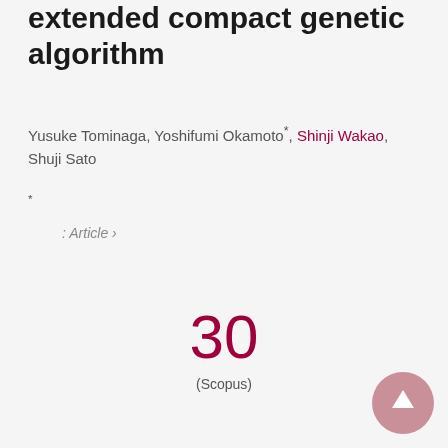extended compact genetic algorithm
Yusuke Tominaga, Yoshifumi Okamoto*, Shinji Wakao, Shuji Sato
*
: Article ›
30
(Scopus)